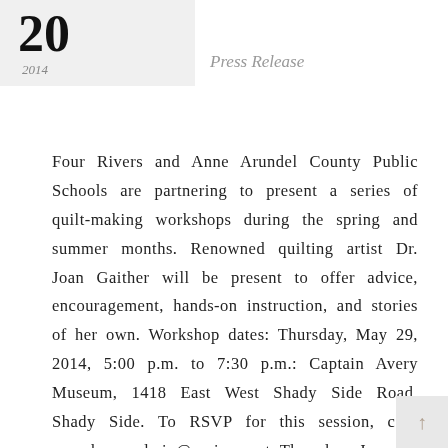20
2014   Press Release
Four Rivers and Anne Arundel County Public Schools are partnering to present a series of quilt-making workshops during the spring and summer months. Renowned quilting artist Dr. Joan Gaither will be present to offer advice, encouragement, hands-on instruction, and stories of her own. Workshop dates: Thursday, May 29, 2014, 5:00 p.m. to 7:30 p.m.: Captain Avery Museum, 1418 East West Shady Side Road, Shady Side. To RSVP for this session, cont averyhouseadmin@verizon.net Thursday, June 12 2014, 5:00 p.m. to 7:30 p.m.: Bates Legacy Center, 1101 Smithville Street, Annapolis. To RSVP for this